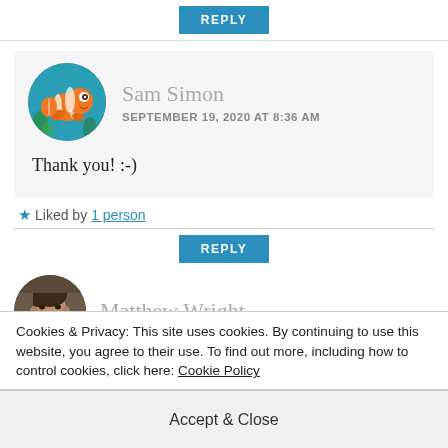REPLY
[Figure (illustration): Circular avatar showing Nemo (clownfish from Finding Nemo) against a teal underwater background]
Sam Simon
SEPTEMBER 19, 2020 AT 8:36 AM
Thank you! :-)
Liked by 1 person
REPLY
[Figure (photo): Circular avatar showing Matthew Wright, a man with short hair]
Matthew Wright
Cookies & Privacy: This site uses cookies. By continuing to use this website, you agree to their use. To find out more, including how to control cookies, click here: Cookie Policy
Accept & Close